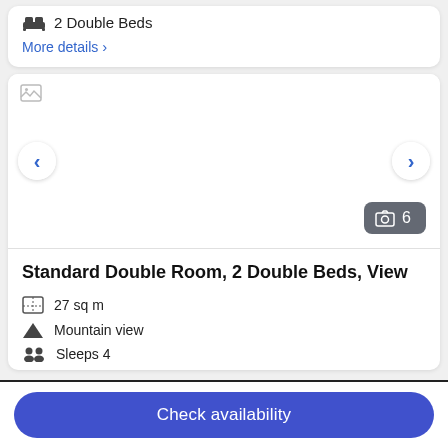2 Double Beds
More details >
[Figure (photo): Hotel room photo carousel with navigation arrows and photo count badge showing 6 photos]
Standard Double Room, 2 Double Beds, View
27 sq m
Mountain view
Sleeps 4
Check availability